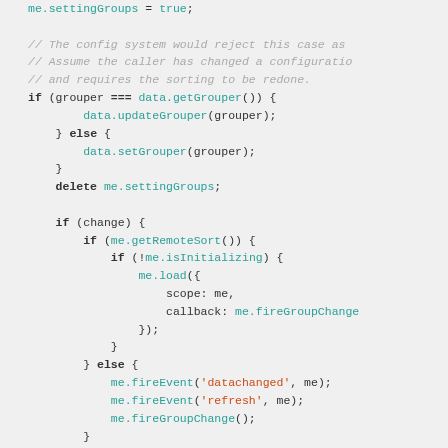[Figure (screenshot): Code snippet showing JavaScript code with syntax highlighting. Contains conditional logic with grouper checks, delete statement, and nested if/else blocks for remote sort handling with fireEvent and fireGroupChange calls.]